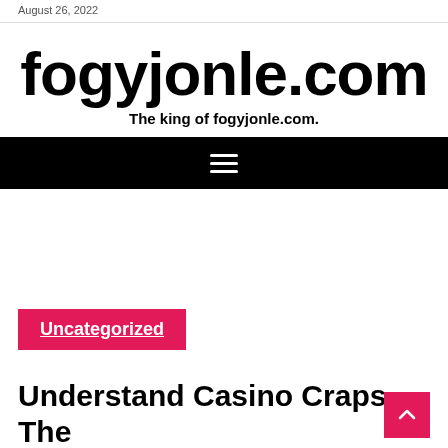August 26, 2022
fogyjonle.com
The king of fogyjonle.com.
[Figure (other): Black navigation bar with hamburger menu icon (three white horizontal lines)]
Uncategorized
Understand Casino Craps — The